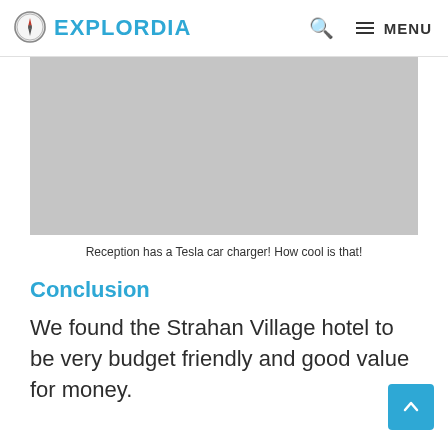EXPLORDIA
[Figure (photo): Gray placeholder image of hotel reception with Tesla car charger]
Reception has a Tesla car charger! How cool is that!
Conclusion
We found the Strahan Village hotel to be very budget friendly and good value for money.